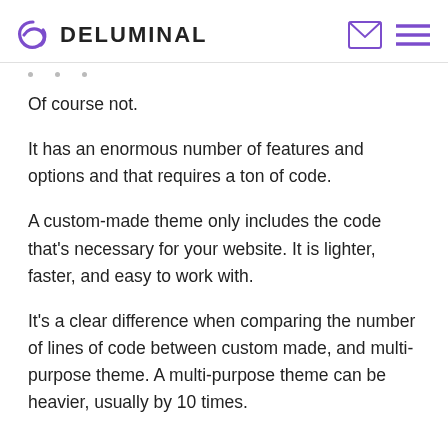DELUMINAL
Of course not.
It has an enormous number of features and options and that requires a ton of code.
A custom-made theme only includes the code that's necessary for your website. It is lighter, faster, and easy to work with.
It's a clear difference when comparing the number of lines of code between custom made, and multi-purpose theme. A multi-purpose theme can be heavier, usually by 10 times.